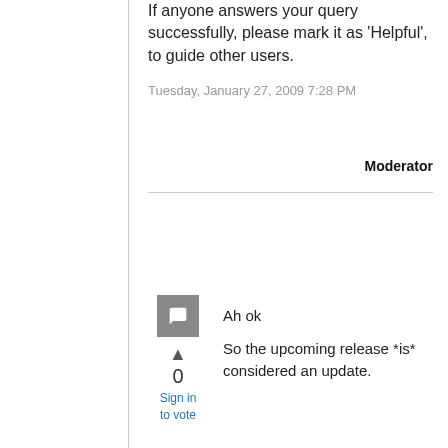If anyone answers your query successfully, please mark it as 'Helpful', to guide other users.
Tuesday, January 27, 2009 7:28 PM
Moderator
0
Sign in to vote
Ah ok
So the upcoming release *is* considered an update.